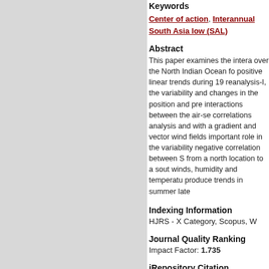Keywords
Center of action, Interannual, South Asia low (SAL)
Abstract
This paper examines the intera over the North Indian Ocean fo positive linear trends during 19 reanalysis-I, the variability and changes in the position and pre interactions between the air-se correlations analysis and with a gradient and vector wind fields important role in the variability negative correlation between S from a north location to a sout winds, humidity and temperatu produce trends in summer late
Indexing Information
HJRS - X Category, Scopus, W
Journal Quality Ranking
Impact Factor: 1.735
iRepository Citation